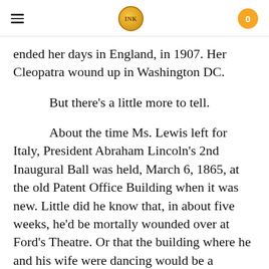INK | 0
ended her days in England, in 1907. Her Cleopatra wound up in Washington DC.
But there's a little more to tell.
About the time Ms. Lewis left for Italy, President Abraham Lincoln's 2nd Inaugural Ball was held, March 6, 1865, at the old Patent Office Building when it was new. Little did he know that, in about five weeks, he'd be mortally wounded over at Ford's Theatre. Or that the building where he and his wife were dancing would be a treasure house of art, including a dying queen sculpted by a great African American artist.